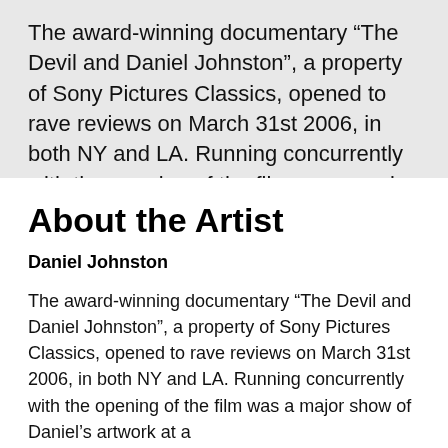The award-winning documentary “The Devil and Daniel Johnston”, a property of Sony Pictures Classics, opened to rave reviews on March 31st 2006, in both NY and LA. Running concurrently with the opening of the film was a major show of Daniel's artwork at a...
About the Artist
Daniel Johnston
The award-winning documentary “The Devil and Daniel Johnston”, a property of Sony Pictures Classics, opened to rave reviews on March 31st 2006, in both NY and LA. Running concurrently with the opening of the film was a major show of Daniel’s artwork at a...